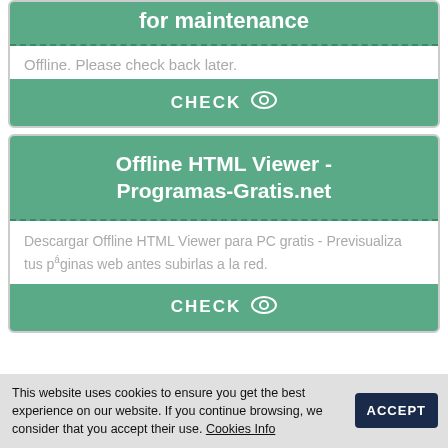for maintenance
Offline. Please check back later.
[Figure (other): CHECK button with eye icon]
Offline HTML Viewer - Programas-Gratis.net
Descargar Offline HTML Viewer para PC gratis - Previsualiza tus páginas web antes subirlas a la red.
[Figure (other): CHECK button with eye icon]
This website uses cookies to ensure you get the best experience on our website. If you continue browsing, we consider that you accept their use. Cookies Info